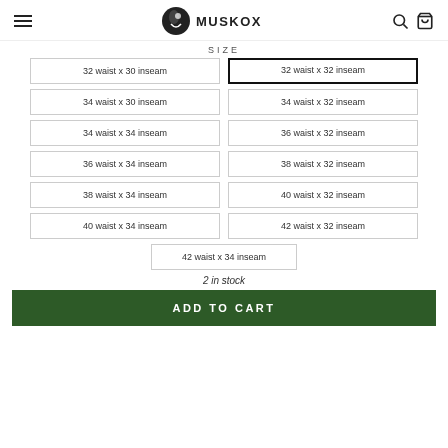MuskOx
SIZE
32 waist x 30 inseam
32 waist x 32 inseam (selected)
34 waist x 30 inseam
34 waist x 32 inseam
34 waist x 34 inseam
36 waist x 32 inseam
36 waist x 34 inseam
38 waist x 32 inseam
38 waist x 34 inseam
40 waist x 32 inseam
40 waist x 34 inseam
42 waist x 32 inseam
42 waist x 34 inseam
2 in stock
ADD TO CART